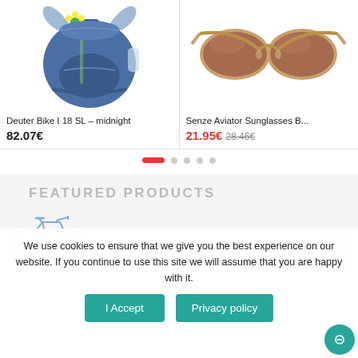[Figure (photo): Blue Deuter Bike I 18 SL backpack with yellow flower decoration]
[Figure (photo): Senze Aviator sunglasses with brown lenses and gold frame]
Deuter Bike I 18 SL – midnight
82.07€
Senze Aviator Sunglasses B...
21.95€  28.46€
[Figure (other): Carousel pagination dots: one red active pill and four grey dots]
FEATURED PRODUCTS
We use cookies to ensure that we give you the best experience on our website. If you continue to use this site we will assume that you are happy with it.
[Figure (photo): Bicycle product image - Energy Bag II black]
Energy Bag II – black
I Accept
Privacy policy